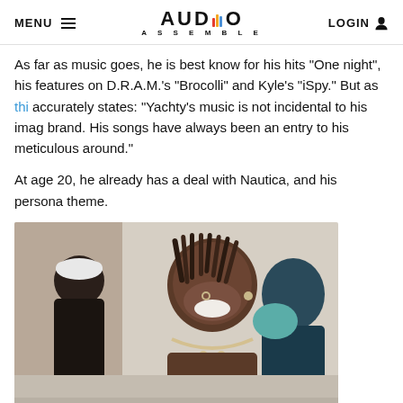MENU  AUDIO ASSEMBLE  LOGIN
As far as music goes, he is best know for his hits "One night", his features on D.R.A.M.'s "Brocolli" and Kyle's "iSpy." But as thi accurately states: "Yachty's music is not incidental to his imag brand. His songs have always been an entry to his meticulous around."
At age 20, he already has a deal with Nautica, and his persona theme.
[Figure (photo): Photo of a young Black man with dreadlocks smiling and looking upward, wearing a chain necklace, shirtless, with other people in the background in what appears to be an indoor setting.]